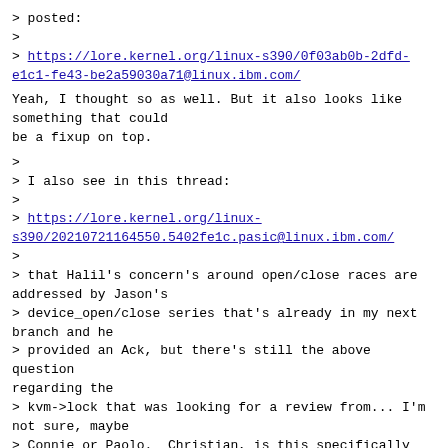> posted:
>
> https://lore.kernel.org/linux-s390/0f03ab0b-2dfd-e1c1-fe43-be2a59030a71@linux.ibm.com/
Yeah, I thought so as well. But it also looks like something that could
be a fixup on top.
>
> I also see in this thread:
>
> https://lore.kernel.org/linux-s390/20210721164550.5402fe1c.pasic@linux.ibm.com/
>
> that Halil's concern's around open/close races are addressed by Jason's
> device_open/close series that's already in my next branch and he
> provided an Ack, but there's still the above question regarding the
> kvm->lock that was looking for a review from... I'm not sure, maybe
> Connie or Paolo.  Christian, is this specifically what you're ack'ing?
I'm also unsure about the kvm->lock thing. Is taking the lock buried
somewhere deep in the code that will ultimately trigger the release?